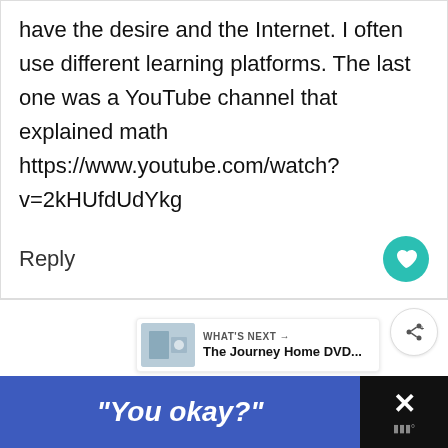have the desire and the Internet. I often use different learning platforms. The last one was a YouTube channel that explained math https://www.youtube.com/watch?v=2kHUfdUdYkg
Reply
[Figure (other): Share button icon]
[Figure (other): WHAT'S NEXT banner with thumbnail image showing The Journey Home DVD...]
Lina
June 15, 2022 at 10:44 am
"You okay?"